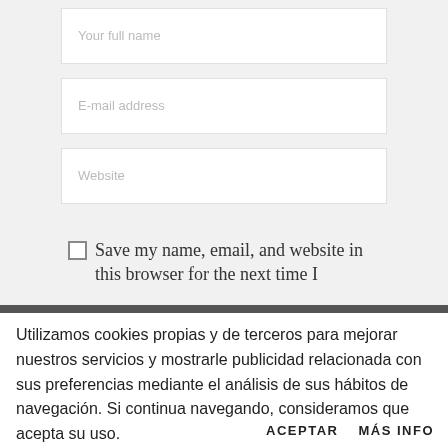[Figure (screenshot): Web form with three input fields: 'Your full name', 'E-mail address', 'Website', and a checkbox with label 'Save my name, email, and website in this browser for the next time I']
Utilizamos cookies propias y de terceros para mejorar nuestros servicios y mostrarle publicidad relacionada con sus preferencias mediante el análisis de sus hábitos de navegación. Si continua navegando, consideramos que acepta su uso.
ACEPTAR     MÁS INFO